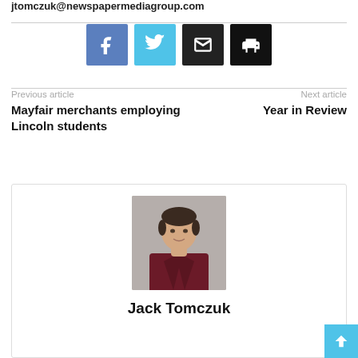jtomczuk@newspapermediagroup.com
[Figure (infographic): Social sharing buttons: Facebook (blue), Twitter (cyan), Email (black), Print (black)]
Previous article
Mayfair merchants employing Lincoln students
Next article
Year in Review
[Figure (photo): Headshot photo of Jack Tomczuk, a young man with dark hair wearing a dark red/maroon button-up shirt, against a grey background]
Jack Tomczuk